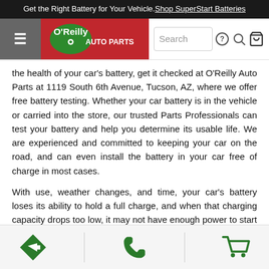Get the Right Battery for Your Vehicle. Shop SuperStart Batteries
[Figure (screenshot): O'Reilly Auto Parts navigation bar with hamburger menu, logo, search bar, help icon, search icon, and cart icon]
the health of your car's battery, get it checked at O'Reilly Auto Parts at 1119 South 6th Avenue, Tucson, AZ, where we offer free battery testing. Whether your car battery is in the vehicle or carried into the store, our trusted Parts Professionals can test your battery and help you determine its usable life. We are experienced and committed to keeping your car on the road, and can even install the battery in your car free of charge in most cases.
With use, weather changes, and time, your car's battery loses its ability to hold a full charge, and when that charging capacity drops too low, it may not have enough power to start your vehicle. In a few short minutes, our free car battery testing can help you understand the lifespan of your car, truck, or SUV's battery, so you can avoid a dead battery at an inopportune time. Before taking the time to research “Battery Testing Near Me,” simply bring your car or
Directions | Phone | Cart